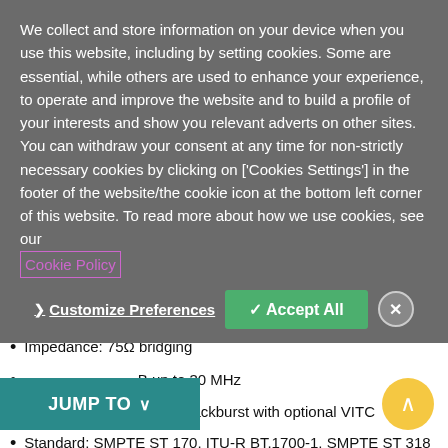We collect and store information on your device when you use this website, including by setting cookies. Some are essential, while others are used to enhance your experience, to operate and improve the website and to build a profile of your interests and show you relevant adverts on other sites. You can withdraw your consent at any time for non-strictly necessary cookies by clicking on ['Cookies Settings'] in the footer of the website/the cookie icon at the bottom left corner of this website. To read more about how we use cookies, see our Cookie Policy
Customize Preferences | Accept All | [close]
Impedance: 75Ω bridging
Return loss: 30 dB up to 30 MHz
composite NTSC-M, PAL-B blackburst with optional VITC
Standard: SMPTE ST 170, ITU-R BT.1700-1, SMPTE ST 318